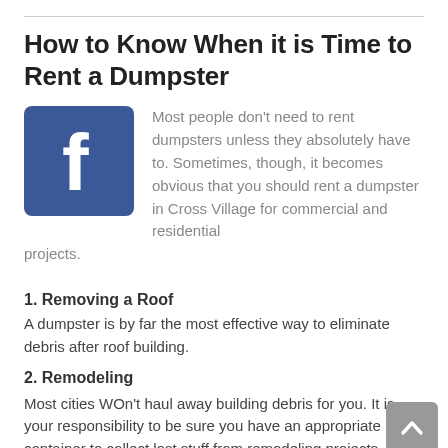How to Know When it is Time to Rent a Dumpster
[Figure (logo): Facebook logo icon — blue square with white lowercase f]
Most people don't need to rent dumpsters unless they absolutely have to. Sometimes, though, it becomes obvious that you should rent a dumpster in Cross Village for commercial and residential projects.
1. Removing a Roof
A dumpster is by far the most effective way to eliminate debris after roof building.
2. Remodeling
Most cities WOn't haul away building debris for you. It is your responsibility to be sure you have an appropriate container to collect lost stuff from remodeling projects. Even if you simply have